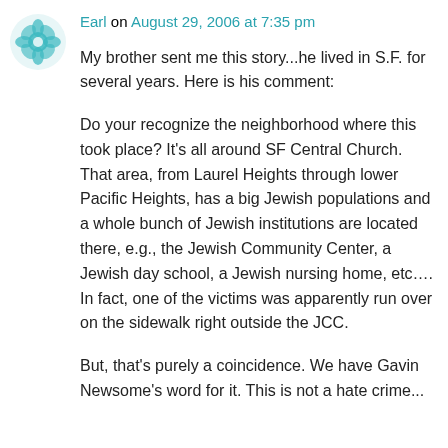[Figure (illustration): Teal/green decorative circular avatar icon with floral/geometric pattern]
Earl on August 29, 2006 at 7:35 pm
My brother sent me this story...he lived in S.F. for several years. Here is his comment:
Do your recognize the neighborhood where this took place? It's all around SF Central Church. That area, from Laurel Heights through lower Pacific Heights, has a big Jewish populations and a whole bunch of Jewish institutions are located there, e.g., the Jewish Community Center, a Jewish day school, a Jewish nursing home, etc.... In fact, one of the victims was apparently run over on the sidewalk right outside the JCC.
But, that's purely a coincidence. We have Gavin Newsome's word for it. This is not a hate crime...